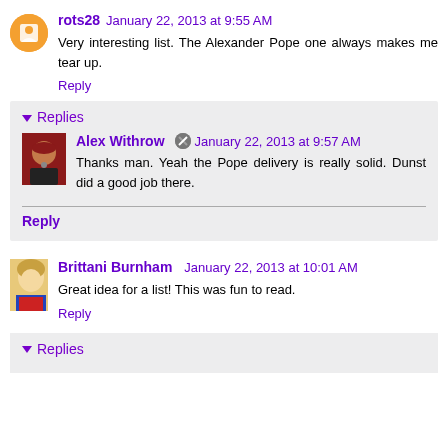rots28 January 22, 2013 at 9:55 AM
Very interesting list. The Alexander Pope one always makes me tear up.
Reply
Replies
Alex Withrow January 22, 2013 at 9:57 AM
Thanks man. Yeah the Pope delivery is really solid. Dunst did a good job there.
Reply
Brittani Burnham January 22, 2013 at 10:01 AM
Great idea for a list! This was fun to read.
Reply
Replies